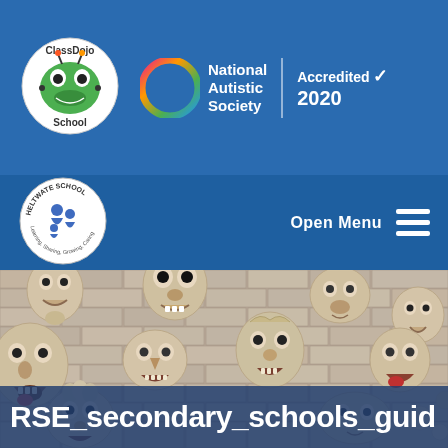[Figure (logo): ClassDojo School circular logo with monster character]
[Figure (logo): National Autistic Society colorful ring logo with text 'National Autistic Society' and 'Accredited 2020' with checkmark]
[Figure (logo): Heltwate School circular logo with two human figures and text 'Learning, Sharing, Growing, Caring']
Open Menu
[Figure (photo): Photo of clay face sculptures mounted on a brick wall — grotesque expressive handmade ceramic faces]
RSE_secondary_schools_guid